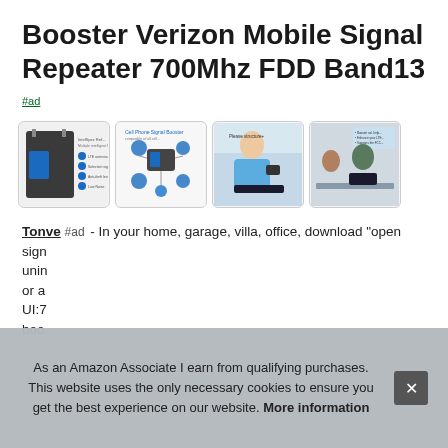Booster Verizon Mobile Signal Repeater 700Mhz FDD Band13
#ad
[Figure (photo): Four product images showing a cell phone signal booster device, its components diagram, a woman using a phone, and people at a desk with devices.]
Tonve #ad - In your home, garage, villa, office, download "open sign... unin... or a... UI:7... boo...
As an Amazon Associate I earn from qualifying purchases. This website uses the only necessary cookies to ensure you get the best experience on our website. More information